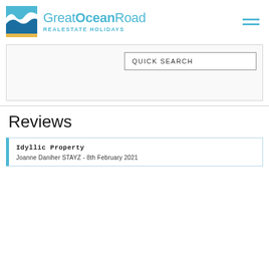[Figure (logo): Great Ocean Road Real Estate Holidays logo with wave/ocean icon and text]
QUICK SEARCH
Reviews
Idyllic Property
Joanne Daniher STAYZ - 8th February 2021